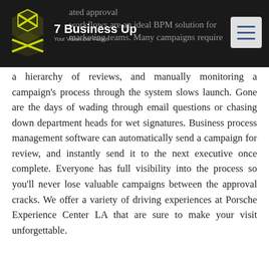7 Business Up — Your Vision.Our Future
ated approval workflows are an ideal BPM solution for marketing teams. Many campaigns require a hierarchy of reviews, and manually monitoring a campaign's process through the system slows launch. Gone are the days of wading through email questions or chasing down department heads for wet signatures. Business process management software can automatically send a campaign for review, and instantly send it to the next executive once complete. Everyone has full visibility into the process so you'll never lose valuable campaigns between the approval cracks. We offer a variety of driving experiences at Porsche Experience Center LA that are sure to make your visit unforgettable.